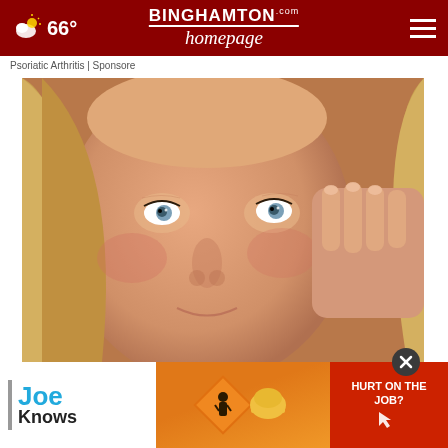66° | BINGHAMTON homepage.com
Psoriatic Arthritis | Sponsore
[Figure (photo): Close-up photo of a middle-aged woman with blue eyes looking upward, touching near her eye with her fingers. Blonde/brown hair visible.]
Doctors Stunned: This Removes Wrinkles Like Cra...
Brillia...
[Figure (infographic): Advertisement overlay at bottom: Joe Knows logo on left, orange construction worker sign in center, red 'HURT ON THE JOB?' ad on right side.]